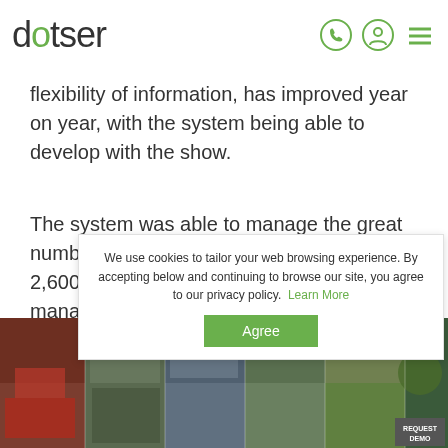dotser
flexibility of information, has improved year on year, with the system being able to develop with the show.
The system was able to manage the great numbers involved in the show, with over 2,600 animals, 720 trades and 6,400 entries managed through the SuperShow Management System.
[Figure (photo): Photo strip of show images at the bottom of the page showing agricultural show scenes with people, tents, and vehicles]
We use cookies to tailor your web browsing experience. By accepting below and continuing to browse our site, you agree to our privacy policy.  Learn More  Agree